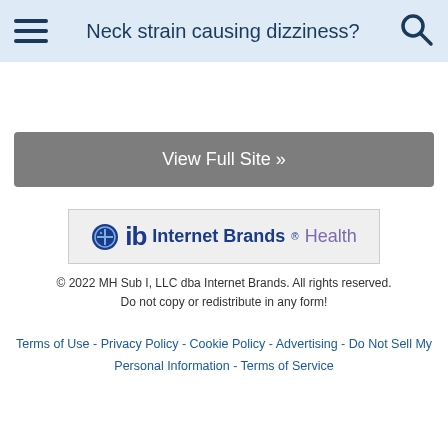Neck strain causing dizziness?
View Full Site »
[Figure (logo): Internet Brands Health logo with gear icon and 'ib' branding]
© 2022 MH Sub I, LLC dba Internet Brands. All rights reserved. Do not copy or redistribute in any form!
Terms of Use - Privacy Policy - Cookie Policy - Advertising - Do Not Sell My Personal Information - Terms of Service